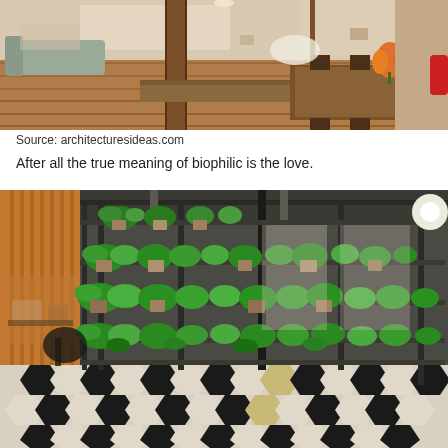[Figure (photo): Interior of a modern loft space with wooden floors, wood beam columns, a long low platform/bench, and a dining area with chairs and orange tulips on the table. Large windows in the background.]
Source: architecturesideas.com
After all the true meaning of biophilic is the love.
[Figure (photo): Interior of a restaurant or cafe space with tall black metal shelving units filled with lush green potted plants creating a living wall / vertical garden effect. Checkered floor pattern with black and white geometric hexagonal tiles. Warm lighting in background.]